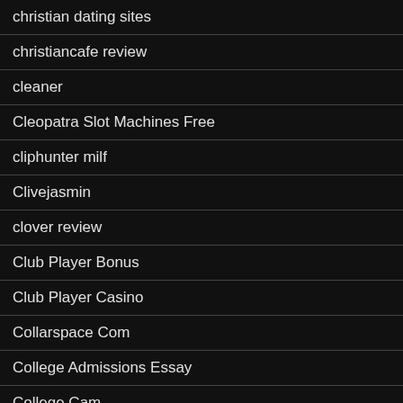christian dating sites
christiancafe review
cleaner
Cleopatra Slot Machines Free
cliphunter milf
Clivejasmin
clover review
Club Player Bonus
Club Player Casino
Collarspace Com
College Admissions Essay
College Cam
College Essay Writing Help